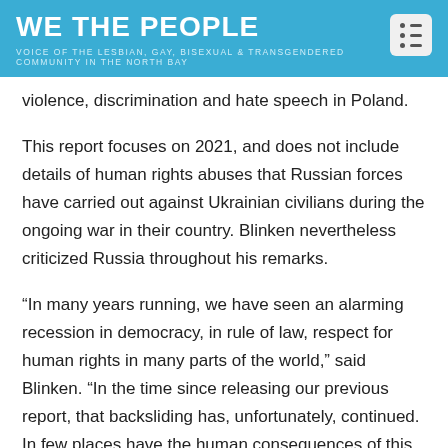WE THE PEOPLE
VOICE OF THE LESBIAN, GAY, BISEXUAL & TRANSGENDERED COMMUNITY IN THE NORTH BAY
violence, discrimination and hate speech in Poland.
This report focuses on 2021, and does not include details of human rights abuses that Russian forces have carried out against Ukrainian civilians during the ongoing war in their country. Blinken nevertheless criticized Russia throughout his remarks.
“In many years running, we have seen an alarming recession in democracy, in rule of law, respect for human rights in many parts of the world,” said Blinken. “In the time since releasing our previous report, that backsliding has, unfortunately, continued. In few places have the human consequences of this decline have been as stark as they are in the Russian government’s brutal war on Ukraine.”